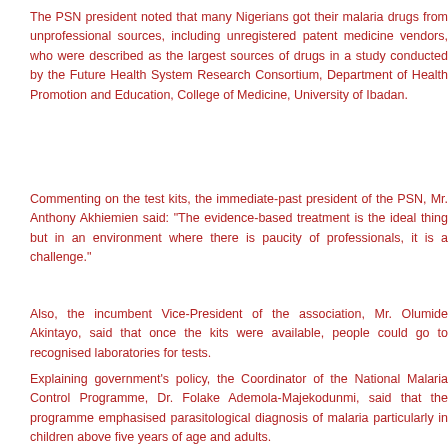The PSN president noted that many Nigerians got their malaria drugs from unprofessional sources, including unregistered patent medicine vendors, who were described as the largest sources of drugs in a study conducted by the Future Health System Research Consortium, Department of Health Promotion and Education, College of Medicine, University of Ibadan.
Commenting on the test kits, the immediate-past president of the PSN, Mr. Anthony Akhiemien said: "The evidence-based treatment is the ideal thing but in an environment where there is paucity of professionals, it is a challenge."
Also, the incumbent Vice-President of the association, Mr. Olumide Akintayo, said that once the kits were available, people could go to recognised laboratories for tests.
Explaining government's policy, the Coordinator of the National Malaria Control Programme, Dr. Folake Ademola-Majekodunmi, said that the programme emphasised parasitological diagnosis of malaria particularly in children above five years of age and adults.